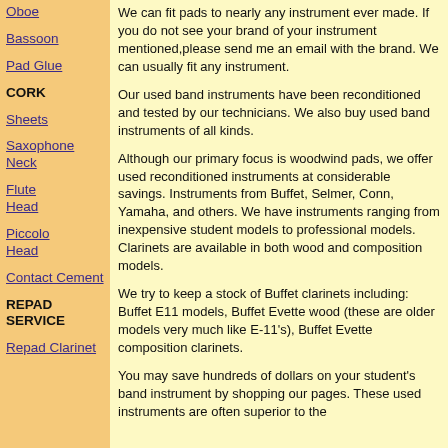Oboe
Bassoon
Pad Glue
CORK
Sheets
Saxophone Neck
Flute Head
Piccolo Head
Contact Cement
REPAD SERVICE
Repad Clarinet
We can fit pads to nearly any instrument ever made. If you do not see your brand of your instrument mentioned,please send me an email with the brand. We can usually fit any instrument.
Our used band instruments have been reconditioned and tested by our technicians. We also buy used band instruments of all kinds.
Although our primary focus is woodwind pads, we offer used reconditioned instruments at considerable savings. Instruments from Buffet, Selmer, Conn, Yamaha, and others. We have instruments ranging from inexpensive student models to professional models. Clarinets are available in both wood and composition models.
We try to keep a stock of Buffet clarinets including: Buffet E11 models, Buffet Evette wood (these are older models very much like E-11's), Buffet Evette composition clarinets.
You may save hundreds of dollars on your student's band instrument by shopping our pages. These used instruments are often superior to the